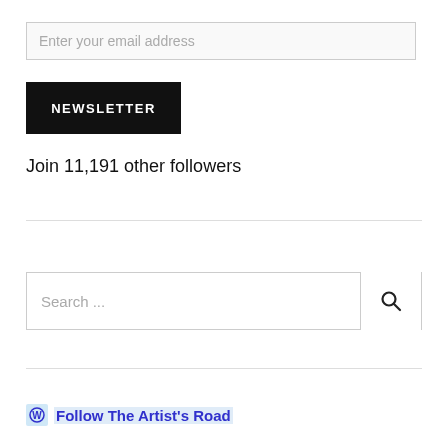Enter your email address
NEWSLETTER
Join 11,191 other followers
Search ...
Follow The Artist's Road